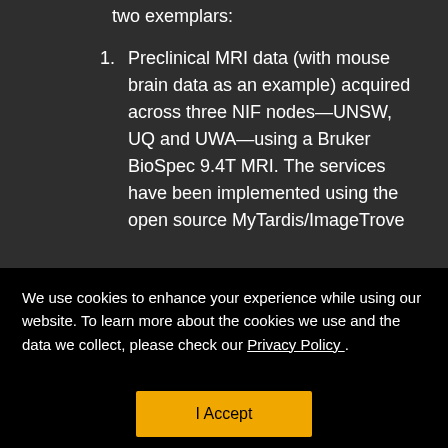two exemplars:
Preclinical MRI data (with mouse brain data as an example) acquired across three NIF nodes—UNSW, UQ and UWA—using a Bruker BioSpec 9.4T MRI. The services have been implemented using the open source MyTardis/ImageTrove
We use cookies to enhance your experience while using our website. To learn more about the cookies we use and the data we collect, please check our Privacy Policy .
I Accept